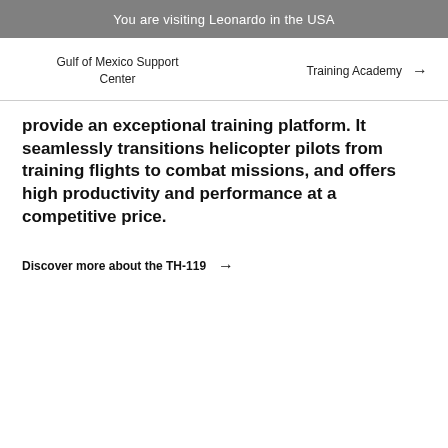You are visiting Leonardo in the USA
Gulf of Mexico Support Center
Training Academy →
provide an exceptional training platform. It seamlessly transitions helicopter pilots from training flights to combat missions, and offers high productivity and performance at a competitive price.
Discover more about the TH-119 →